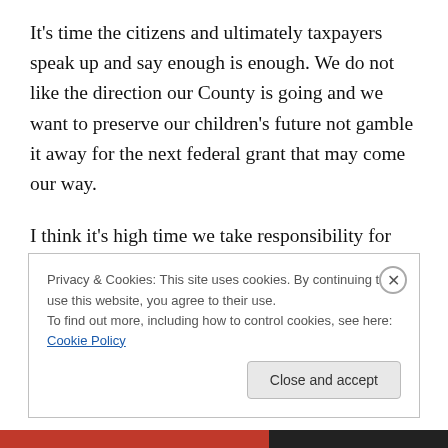It’s time the citizens and ultimately taxpayers speak up and say enough is enough. We do not like the direction our County is going and we want to preserve our children’s future not gamble it away for the next federal grant that may come our way.
I think it’s high time we take responsibility for our city and county. Act responsible and live within our means for a change, cut our debt instead of mounding it on our children’s backs, robbing them of their own ability to be
Privacy & Cookies: This site uses cookies. By continuing to use this website, you agree to their use.
To find out more, including how to control cookies, see here: Cookie Policy